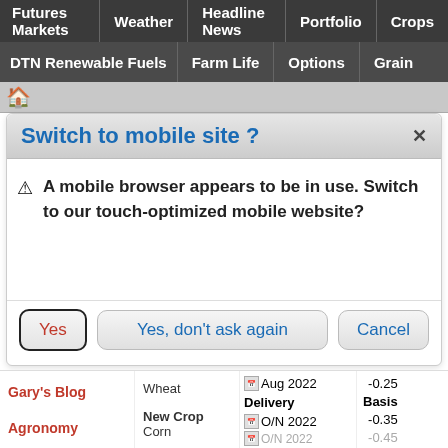Futures Markets | Weather | Headline News | Portfolio | Crops
DTN Renewable Fuels | Farm Life | Options | Grain
Switch to mobile site ?
A mobile browser appears to be in use. Switch to our touch-optimized mobile website?
Yes | Yes, don't ask again | Cancel
|  | Wheat / New Crop Corn | Delivery | Basis |
| --- | --- | --- | --- |
| Gary's Blog | Wheat | Aug 2022 | -0.25 |
| Agronomy | New Crop
Corn | O/N 2022
O/N 2022 | -0.35
-0.45 |